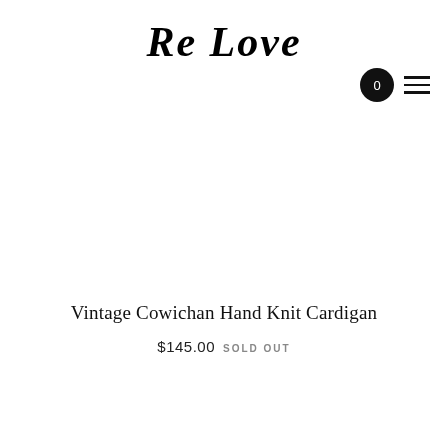Re Love
Vintage Cowichan Hand Knit Cardigan
$145.00 SOLD OUT